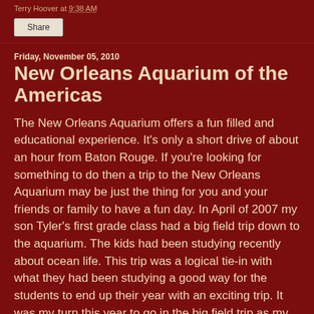Terry Hoover at 9:38 AM
Share
Friday, November 05, 2010
New Orleans Aquarium of the Americas
The New Orleans Aquarium offers a fun filled and educational experience. It's only a short drive of about an hour from Baton Rouge. If you're looking for something to do then a trip to the New Orleans Aquarium may be just the thing for you and your friends or family to have a fun day. In April of 2007 my son Tyler's first grade class had a big field trip down to the aquarium. The kids had been studying recently about ocean life. This trip was a logical tie-in with what they had been studying a good way for the students to end up their year with an exciting trip. It was my turn this year to go in the big field trip as my wife had gone last year. I took off a day off work and had a memorable day with my son.
There was another first grade boy on the trip that had been